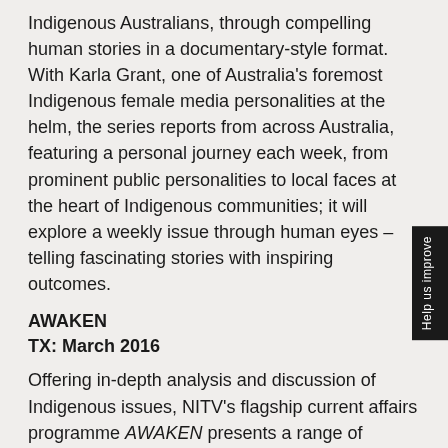Indigenous Australians, through compelling human stories in a documentary-style format. With Karla Grant, one of Australia's foremost Indigenous female media personalities at the helm, the series reports from across Australia, featuring a personal journey each week, from prominent public personalities to local faces at the heart of Indigenous communities; it will explore a weekly issue through human eyes – telling fascinating stories with inspiring outcomes.
AWAKEN
TX: March 2016
Offering in-depth analysis and discussion of Indigenous issues, NITV's flagship current affairs programme AWAKEN presents a range of informed Indigenous perspectives and brings together influential Indigenous voices and smart incisive thinkers. Award-winning journalist Stan Grant, alongside Guest Presenter and Executive Producer, Catherine Liddle, put Aboriginal and Torres Strait Islander issues under the microscope to debate matters of importance to Indigenous Australians.